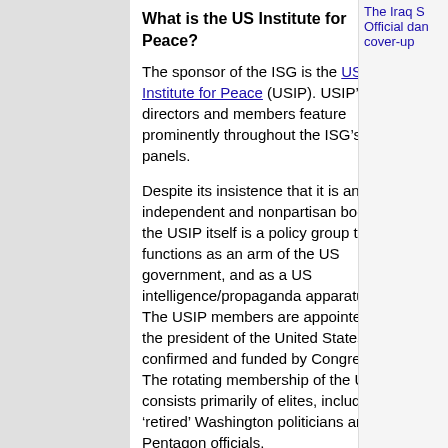What is the US Institute for Peace?
The sponsor of the ISG is the US Institute for Peace (USIP). USIPs directors and members feature prominently throughout the ISGs panels.
Despite its insistence that it is an independent and nonpartisan body, the USIP itself is a policy group that functions as an arm of the US government, and as a US intelligence/propaganda apparatus. The USIP members are appointed by the president of the United States, and confirmed and funded by Congress. The rotating membership of the USIP consists primarily of elites, including retired Washington politicians and Pentagon officials.
Named in true Orwellian fashion, the US Institute for Peace is a harbor for elite managers of global warfare. Its former members have included the most notorious war criminals in
The Iraq S Official dan cover-up